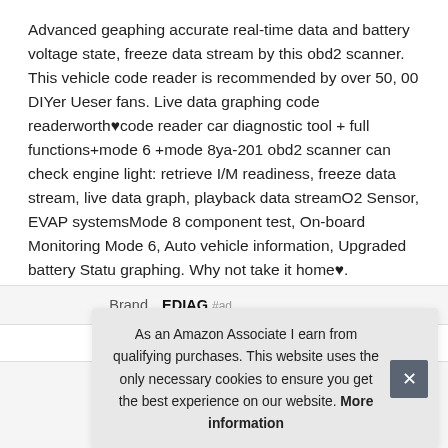Advanced geaphing accurate real-time data and battery voltage state, freeze data stream by this obd2 scanner. This vehicle code reader is recommended by over 50, 00 DIYer Ueser fans. Live data graphing code readerworth♥code reader car diagnostic tool + full functions+mode 6 +mode 8ya-201 obd2 scanner can check engine light: retrieve I/M readiness, freeze data stream, live data graph, playback data streamO2 Sensor, EVAP systemsMode 8 component test, On-board Monitoring Mode 6, Auto vehicle information, Upgraded battery Statu graphing. Why not take it home♥.
|  |  |
| --- | --- |
| Brand | EDIAG #ad |
| M… |  |
As an Amazon Associate I earn from qualifying purchases. This website uses the only necessary cookies to ensure you get the best experience on our website. More information